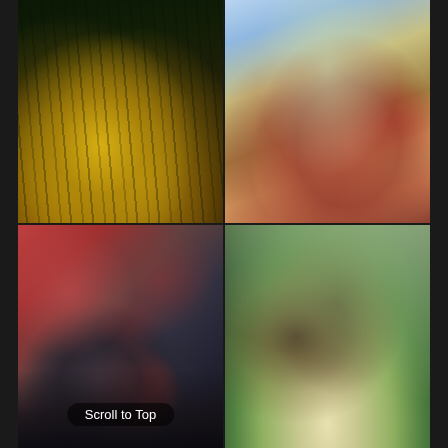[Figure (photo): Autumn forest scene with yellow-green maple leaves in foreground, dark tree trunks in background, sunlight filtering through]
[Figure (photo): Raw meat steaks on a white plate with fresh herbs (dill/rosemary), olive oil bottle, flowers in background, wooden cutting board setting]
[Figure (photo): Close-up blurry bokeh shot of a camera or device with red button/knob and metallic elements, blurred circular bokeh in background]
[Figure (photo): Looking up at a tall pine tree with large trunk, branches spreading outward, sunlight and green foliage visible through branches]
Scroll to Top